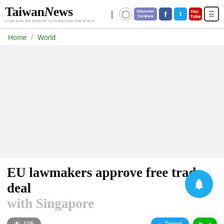Taiwan News
Home / World
[Figure (other): Advertisement banner area (blank/gray)]
EU lawmakers approve free trade deal with Singapore
105  Tweet  [Line share button]